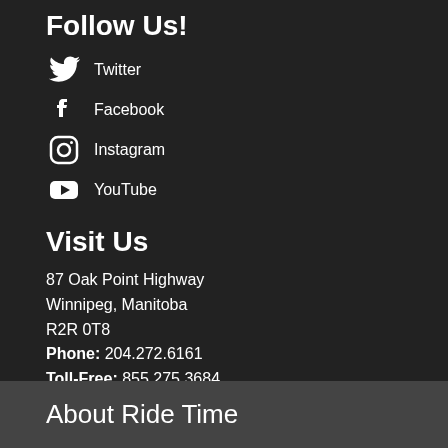Follow Us!
Twitter
Facebook
Instagram
YouTube
Visit Us
87 Oak Point Highway
Winnipeg, Manitoba
R2R 0T8
Phone: 204.272.6161
Toll-Free: 855.275.3684
Fax: 204.783.7271
About Ride Time